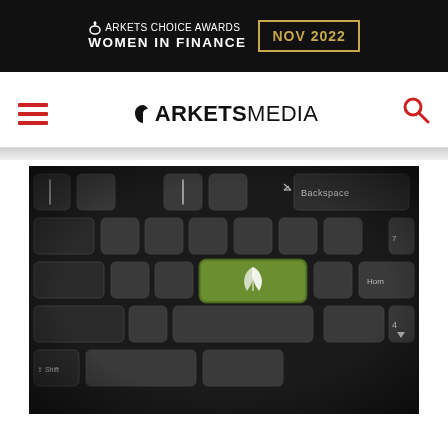[Figure (illustration): Markets Choice Awards Women in Finance NOV 2022 banner — black background with white text and gold date box]
MARKETS MEDIA navigation bar with hamburger menu, logo, and search icon
[Figure (photo): Close-up photograph of a dark computer keyboard with a green key featuring a white leaf icon in the center — representing ESG/green finance theme]